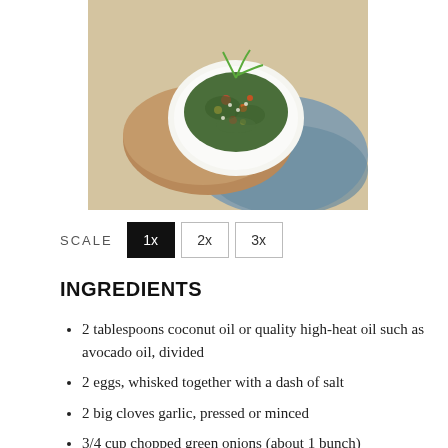[Figure (photo): Overhead shot of a dish with chopped kale, vegetables and garnish on a white plate with wooden board and blue cloth]
SCALE  1x  2x  3x
INGREDIENTS
2 tablespoons coconut oil or quality high-heat oil such as avocado oil, divided
2 eggs, whisked together with a dash of salt
2 big cloves garlic, pressed or minced
3/4 cup chopped green onions (about 1 bunch)
Optional: 1 cup chopped vegetables, like bell pepper, carrot or Brussels sprouts
1 medium bunch kale (preferably Lacinato but curly green is good, too), ribs removed and leaves chopped